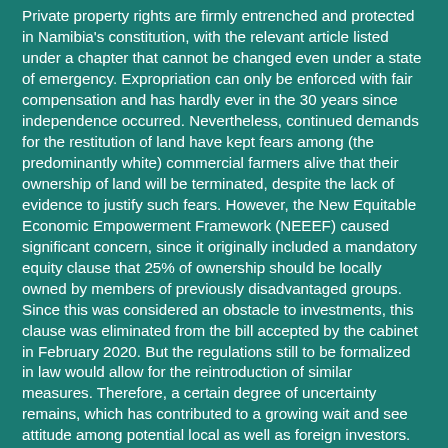Private property rights are firmly entrenched and protected in Namibia's constitution, with the relevant article listed under a chapter that cannot be changed even under a state of emergency. Expropriation can only be enforced with fair compensation and has hardly ever in the 30 years since independence occurred. Nevertheless, continued demands for the restitution of land have kept fears among (the predominantly white) commercial farmers alive that their ownership of land will be terminated, despite the lack of evidence to justify such fears. However, the New Equitable Economic Empowerment Framework (NEEEF) caused significant concern, since it originally included a mandatory equity clause that 25% of ownership should be locally owned by members of previously disadvantaged groups. Since this was considered an obstacle to investments, this clause was eliminated from the bill accepted by the cabinet in February 2020. But the regulations still to be formalized in law would allow for the reintroduction of similar measures. Therefore, a certain degree of uncertainty remains, which has contributed to a growing wait and see attitude among potential local as well as foreign investors.